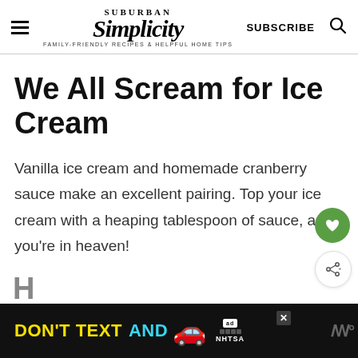SUBURBAN SIMPLICITY — FAMILY-FRIENDLY RECIPES & HELPFUL HOME TIPS | SUBSCRIBE
We All Scream for Ice Cream
Vanilla ice cream and homemade cranberry sauce make an excellent pairing. Top your ice cream with a heaping tablespoon of sauce, and you're in heaven!
[Figure (other): Advertisement banner: DON'T TEXT AND [car emoji] ad badge NHTSA logo, dark background with yellow and cyan text]